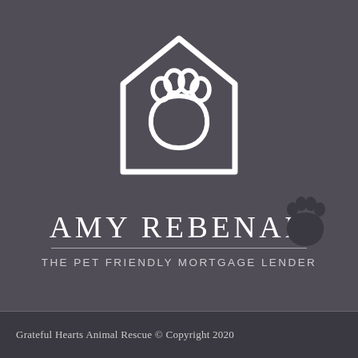[Figure (logo): House outline with paw print inside — logo for Amy Rebenar the Pet Friendly Mortgage Lender]
AMY REBENAR
THE PET FRIENDLY MORTGAGE LENDER
[Figure (illustration): Small dark paw print watermark in bottom right corner]
Grateful Hearts Animal Rescue © Copyright 2020